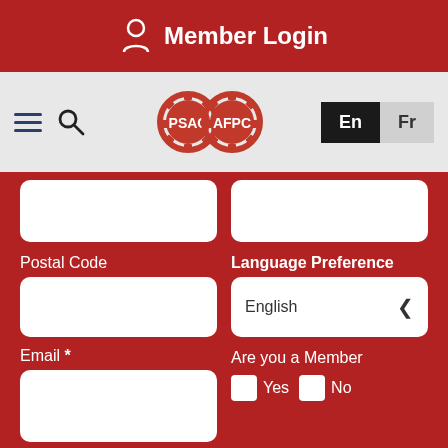Member Login
[Figure (screenshot): PSAC AFPC logo with two interlocking gear icons, red and white]
Postal Code
Language Preference
English
Email *
Are you a Member
Yes
No